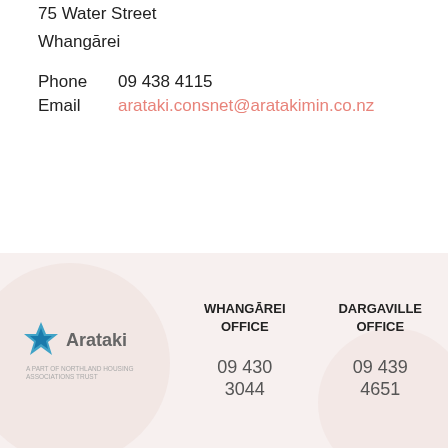75 Water Street
Whangārei
Phone   09 438 4115
Email   arataki.consnet@aratakimin.co.nz
[Figure (logo): Arataki logo with blue star icon and company name]
WHANGĀREI OFFICE
DARGAVILLE OFFICE
09 430 3044
09 439 4651